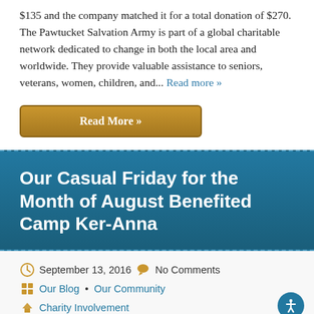$135 and the company matched it for a total donation of $270. The Pawtucket Salvation Army is part of a global charitable network dedicated to change in both the local area and worldwide. They provide valuable assistance to seniors, veterans, women, children, and... Read more »
Read More »
Our Casual Friday for the Month of August Benefited Camp Ker-Anna
September 13, 2016   No Comments   Our Blog • Our Community   Charity Involvement